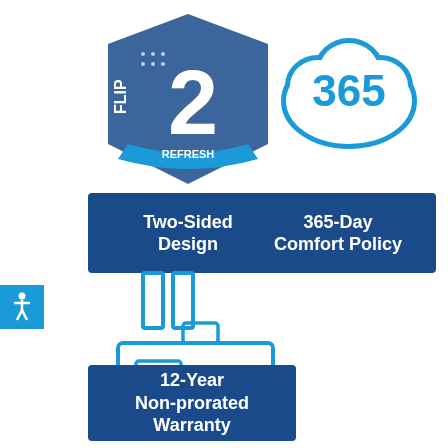[Figure (logo): Flip 2 Refresh two-sided mattress design logo with blue shield and arrow]
[Figure (illustration): Cloud icon with 365 text inside, representing 365-Day Comfort Policy]
Two-Sided Design
365-Day Comfort Policy
[Figure (illustration): Factory/manufacturing building icon in blue outline style]
12-Year Non-prorated Warranty